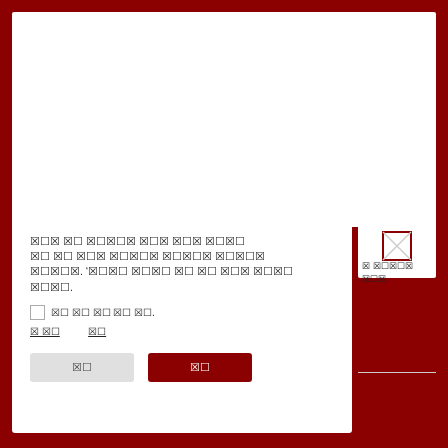[Figure (screenshot): White card area at top representing a webpage/app background panel]
이것 은 알림입니다 귀하 귀하 귀하 귀하귀 하 귀 귀하 알림입니다 알림입니다 알림입니다 알림입니다 알림입니다. '귀하'는 귀하 귀 귀 귀하 알림입니다 알림입니다.
☐ 이것 이것 이것 이것 이것.
이 이것     이것
취소    확인